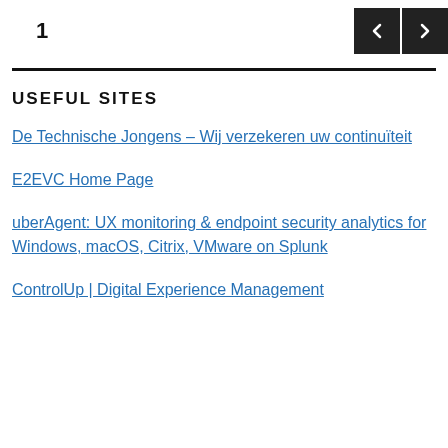1
USEFUL SITES
De Technische Jongens – Wij verzekeren uw continuïteit
E2EVC Home Page
uberAgent: UX monitoring & endpoint security analytics for Windows, macOS, Citrix, VMware on Splunk
ControlUp | Digital Experience Management